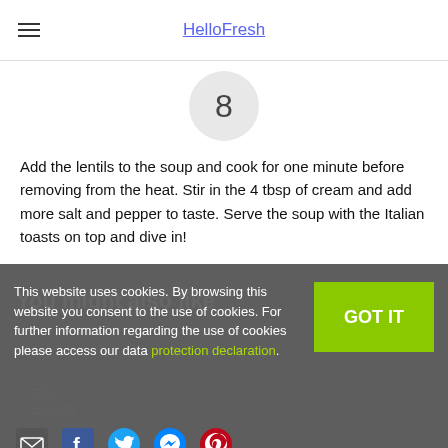HelloFresh
8
Add the lentils to the soup and cook for one minute before removing from the heat. Stir in the 4 tbsp of cream and add more salt and pepper to taste. Serve the soup with the Italian toasts on top and dive in!
You might also like
[Figure (photo): Pan-Fried Halloumi recipe image thumbnail]
This website uses cookies. By browsing this website you consent to the use of cookies. For further information regarding the use of cookies please access our data protection declaration.